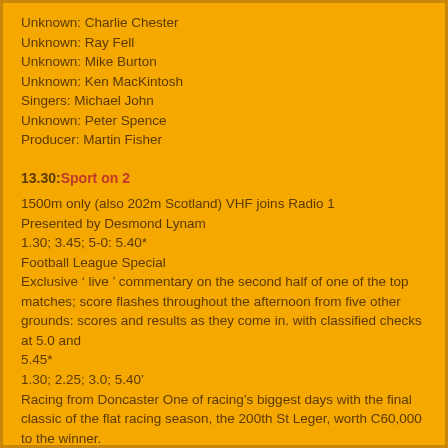Unknown: Charlie Chester
Unknown: Ray Fell
Unknown: Mike Burton
Unknown: Ken MacKintosh
Singers: Michael John
Unknown: Peter Spence
Producer: Martin Fisher
13.30: Sport on 2
1500m only (also 202m Scotland) VHF joins Radio 1
Presented by Desmond Lynam
1.30; 3.45; 5-0: 5.40*
Football League Special
Exclusive ‘ live ’ commentary on the second half of one of the top matches; score flashes throughout the afternoon from five other grounds: scores and results as they come in. with classified checks at 5.0 and
5.45*
1.30; 2.25; 3.0; 5.40'
Racing from Doncaster One of racing's biggest days with the final classic of the flat racing season, the 200th St Leger, worth C60,000 to the winner.
1.30 The Flying Childers Stakes (5f)
2.30 The Mark Lane Handicap Stakes (7f)
3.5 The St Leger Stakes dm 6f)
Commentator PETER BROMLEY
Plus results from the other meetings throughout the afternoon, with a